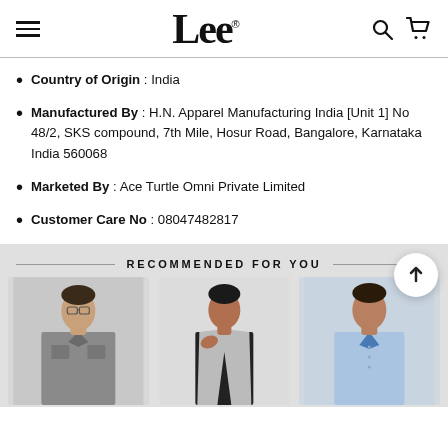Lee (logo) with hamburger menu, search and cart icons
Country of Origin: India
Manufactured By : H.N. Apparel Manufacturing India [Unit 1] No 48/2, SKS compound, 7th Mile, Hosur Road, Bangalore, Karnataka India 560068
Marketed By : Ace Turtle Omni Private Limited
Customer Care No : 08047482817
RECOMMENDED FOR YOU
[Figure (photo): Three male models wearing Lee brand clothing (denim shirt, casual shirt, light blue shirt) shown as product recommendations]